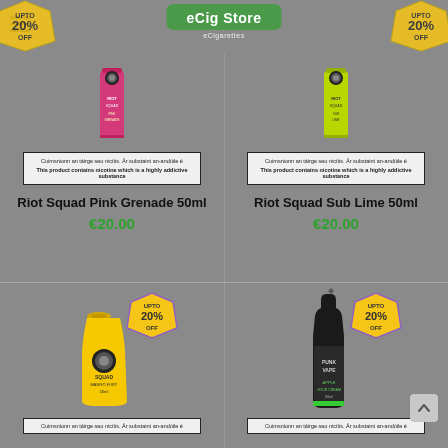eCig Store | eCigarettes
[Figure (photo): Riot Squad Pink Grenade 50ml vape bottle, pink/magenta color]
Cuimsnionn an táirge seo nicítis. Ár substaint an-andúile é
This product contains nicotine which is a highly addictive substance
Riot Squad Pink Grenade 50ml
€20.00
[Figure (photo): Riot Squad Sub Lime 50ml vape bottle, green/yellow color]
Cuimsnionn an táirge seo nicítis. Ár substaint an-andúile é
This product contains nicotine which is a highly addictive substance
Riot Squad Sub Lime 50ml
€20.00
[Figure (photo): Yellow vape bottle with 20% discount badge]
Cuimsnionn an táirge seo nicítis. Ár substaint an-andúile é
[Figure (photo): Dark vape bottle with Punk Vape branding and 20% discount badge]
Cuimsnionn an táirge seo nicítis. Ár substaint an-andúile é